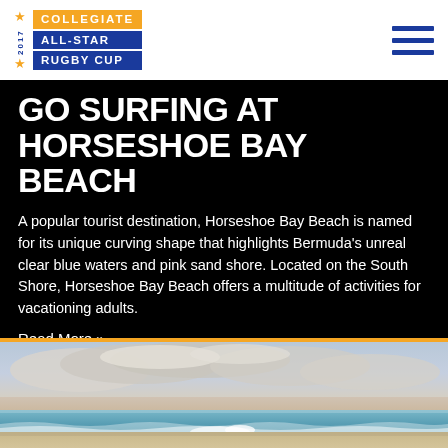2017 Collegiate All-Star Rugby Cup
GO SURFING AT HORSESHOE BAY BEACH
A popular tourist destination, Horseshoe Bay Beach is named for its unique curving shape that highlights Bermuda's unreal clear blue waters and pink sand shore. Located on the South Shore, Horseshoe Bay Beach offers a multitude of activities for vacationing adults.
Read More »
[Figure (photo): Beach scene with ocean waves, sandy shore, and dramatic cloudy sky at dusk or dawn]